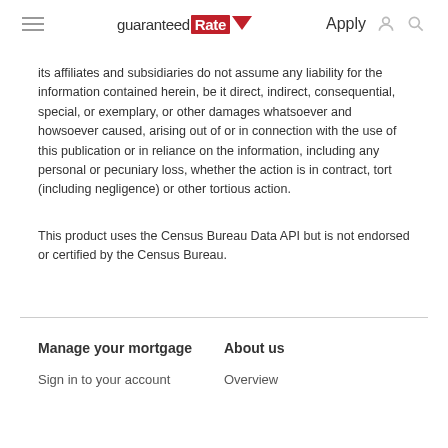guaranteed Rate | Apply
its affiliates and subsidiaries do not assume any liability for the information contained herein, be it direct, indirect, consequential, special, or exemplary, or other damages whatsoever and howsoever caused, arising out of or in connection with the use of this publication or in reliance on the information, including any personal or pecuniary loss, whether the action is in contract, tort (including negligence) or other tortious action.
This product uses the Census Bureau Data API but is not endorsed or certified by the Census Bureau.
Manage your mortgage
About us
Sign in to your account
Overview